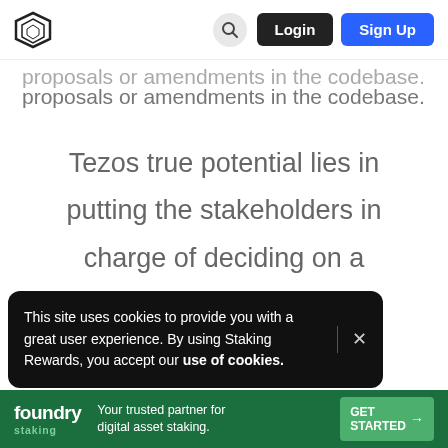Navigation bar with logo, search, Login and Sign Up buttons
proposals or amendments in the codebase.
Tezos true potential lies in putting the stakeholders in charge of deciding on a protocol that they feel best
This site uses cookies to provide you with a great user experience. By using Staking Rewards, you accept our use of cookies.
2. Se
foundry staking — Your trusted partner for digital asset staking. GET STARTED →